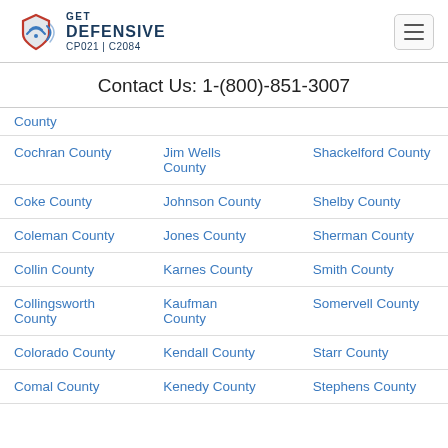GET DEFENSIVE CP021 | C2084
Contact Us: 1-(800)-851-3007
| Column 1 | Column 2 | Column 3 |
| --- | --- | --- |
| County |  |  |
| Cochran County | Jim Wells County | Shackelford County |
| Coke County | Johnson County | Shelby County |
| Coleman County | Jones County | Sherman County |
| Collin County | Karnes County | Smith County |
| Collingsworth County | Kaufman County | Somervell County |
| Colorado County | Kendall County | Starr County |
| Comal County | Kenedy County | Stephens County |